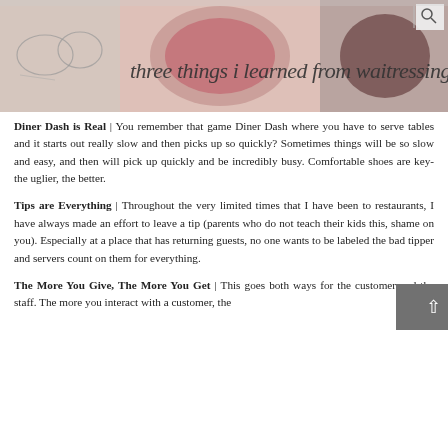[Figure (photo): Blog header image with cursive text 'three things i learned from waitressing' overlaid on food/restaurant photos including what appears to be a bowl of soup or dessert]
Diner Dash is Real | You remember that game Diner Dash where you have to serve tables and it starts out really slow and then picks up so quickly? Sometimes things will be so slow and easy, and then will pick up quickly and be incredibly busy. Comfortable shoes are key- the uglier, the better.
Tips are Everything | Throughout the very limited times that I have been to restaurants, I have always made an effort to leave a tip (parents who do not teach their kids this, shame on you). Especially at a place that has returning guests, no one wants to be labeled the bad tipper and servers count on them for everything.
The More You Give, The More You Get | This goes both ways for the customer and the staff. The more you interact with a customer, the